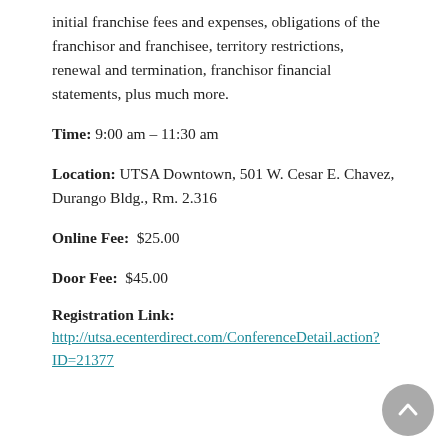initial franchise fees and expenses, obligations of the franchisor and franchisee, territory restrictions, renewal and termination, franchisor financial statements, plus much more.
Time: 9:00 am – 11:30 am
Location: UTSA Downtown, 501 W. Cesar E. Chavez, Durango Bldg., Rm. 2.316
Online Fee:  $25.00
Door Fee:  $45.00
Registration Link:
http://utsa.ecenterdirect.com/ConferenceDetail.action?ID=21377